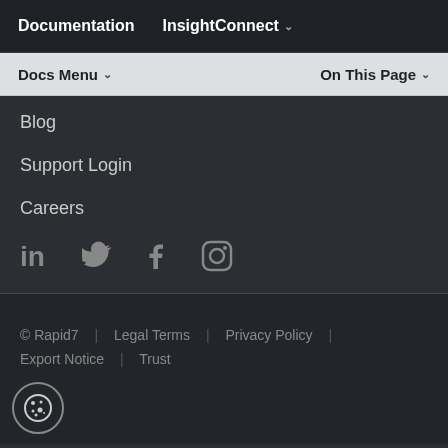Documentation  InsightConnect
Docs Menu   On This Page
Blog
Support Login
Careers
[Figure (illustration): Social media icons: LinkedIn, Twitter, Facebook, Instagram]
© Rapid7  Legal Terms  |  Privacy Policy  |  Export Notice  |  Trust